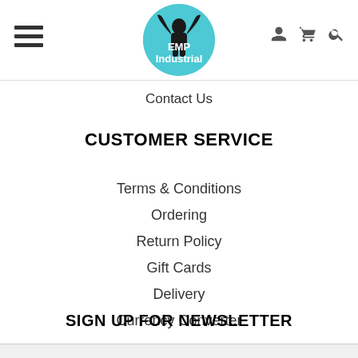[Figure (logo): EMP Industrial logo: circular blue/teal badge with muscular figure silhouette and 'EMP Industrial' text]
Contact Us
CUSTOMER SERVICE
Terms & Conditions
Ordering
Return Policy
Gift Cards
Delivery
Currency Converter
SIGN UP FOR NEWSLETTER